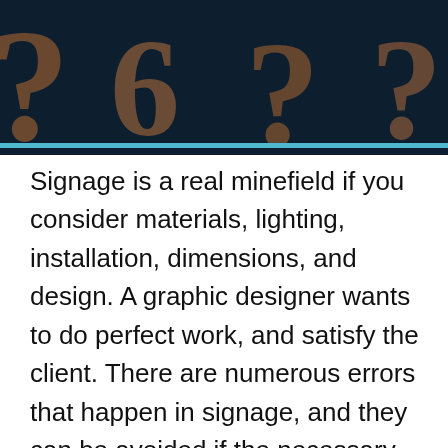[Figure (illustration): Dark navy blue header area with large decorative question mark symbols in a brownish/orange tone, partially visible, with a teal/cyan horizontal bar at the bottom of the header.]
Signage is a real minefield if you consider materials, lighting, installation, dimensions, and design. A graphic designer wants to do perfect work, and satisfy the client. There are numerous errors that happen in signage, and they can be avoided if the necessary precautions are taken. Everyone makes mistakes, but it is important to learn from them...and  it is even more interesting to learn from the mistakes of others. In any graphic design company, there are those